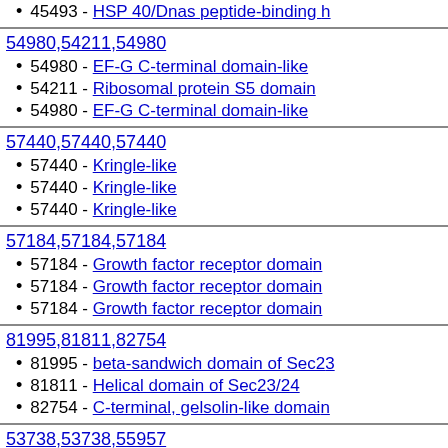45493 - HSP 40/Dnas peptide-binding (truncated at top)
54980,54211,54980
54980 - EF-G C-terminal domain-like
54211 - Ribosomal protein S5 domain
54980 - EF-G C-terminal domain-like
57440,57440,57440
57440 - Kringle-like
57440 - Kringle-like
57440 - Kringle-like
57184,57184,57184
57184 - Growth factor receptor domain
57184 - Growth factor receptor domain
57184 - Growth factor receptor domain
81995,81811,82754
81995 - beta-sandwich domain of Sec23/24
81811 - Helical domain of Sec23/24
82754 - C-terminal, gelsolin-like domain
53738,53738,55957
53738 - Phosphoglucomutase, first 3 d
53738 - Phosphoglucomutase, first 3 d
55957 - Phosphoglucomutase, C-term
142921,47587,56399
142921 - WGR domain-like
47587 - Domain of poly(ADP-ribose) p